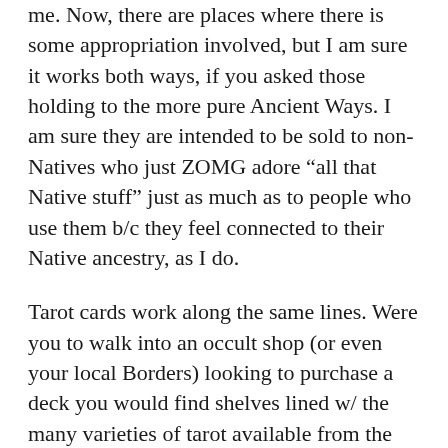me. Now, there are places where there is some appropriation involved, but I am sure it works both ways, if you asked those holding to the more pure Ancient Ways. I am sure they are intended to be sold to non-Natives who just ZOMG adore “all that Native stuff” just as much as to people who use them b/c they feel connected to their Native ancestry, as I do.
Tarot cards work along the same lines. Were you to walk into an occult shop (or even your local Borders) looking to purchase a deck you would find shelves lined w/ the many varieties of tarot available from the traditional to decks w/ artwork specifically for LGBTQI. I have owned a Native American tarot deck myself. The description is specific and appropriate, as the cards would be